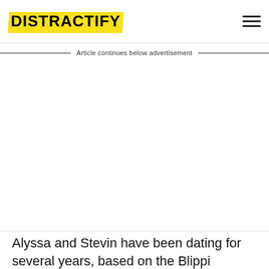DISTRACTIFY
Article continues below advertisement
Alyssa and Stevin have been dating for several years, based on the Blippi character, which